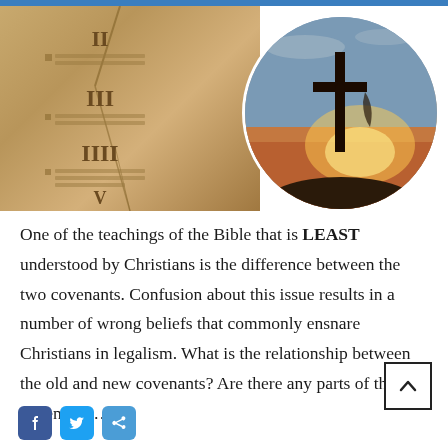[Figure (photo): Composite image: left side shows stone tablets with Roman numerals (II, III, IIII, V) representing the Ten Commandments; right side shows a circular inset of a cross silhouette against a sunset sky.]
One of the teachings of the Bible that is LEAST understood by Christians is the difference between the two covenants. Confusion about this issue results in a number of wrong beliefs that commonly ensnare Christians in legalism. What is the relationship between the old and new covenants? Are there any parts of the old covenant ...